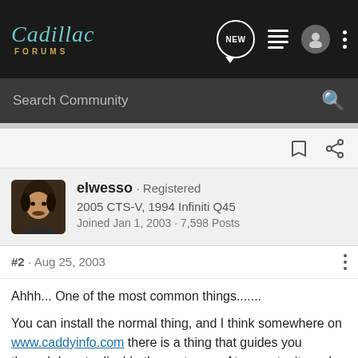Cadillac FORUMS
Search Community
[Figure (photo): User avatar photo of elwesso, showing a person with dark hair and mustache]
elwesso · Registered
2005 CTS-V, 1994 Infiniti Q45
Joined Jan 1, 2003 · 7,598 Posts
#2 · Aug 25, 2003
Ahhh... One of the most common things.......
You can install the normal thing, and I think somewhere on www.caddyinfo.com there is a thing that guides you through how to disable the system..... At any rate, it can be done!!! BTW, new stock struts are really expensive..... The passive ones are about 60/assy, and really dont have any negative